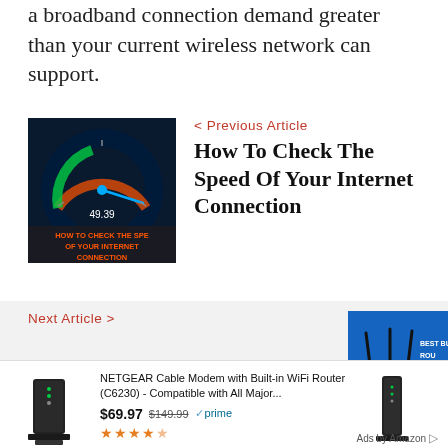a broadband connection demand greater than your current wireless network can support.
[Figure (photo): Thumbnail image with speedometer gauge and text 'HOW TO CHECK THE SPEED OF YOUR INTERNET CONNECTION']
< Previous Article
How To Check The Speed Of Your Internet Connection
Next Article >
The 10 Best Budget Routers
[Figure (photo): Thumbnail of a black router on blue background with text 'BEST BUDGET ROUTERS UNDER...']
NETGEAR Cable Modem with Built-in WiFi Router (C6230) - Compatible with All Major...
$69.97  $149.99  ✓prime  ★★★★½
[Figure (photo): Amazon ad product image - black NETGEAR cable modem]
[Figure (photo): Amazon ad product image - second black modem/router device]
Ads by Amazon